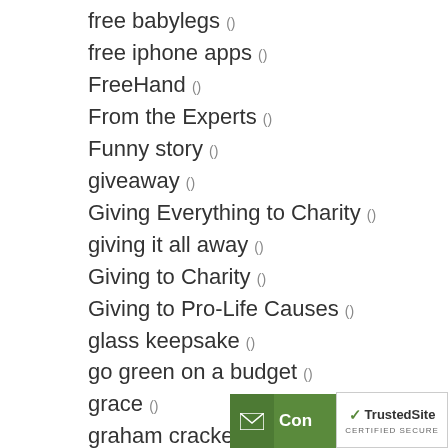free babylegs ()
free iphone apps ()
FreeHand ()
From the Experts ()
Funny story ()
giveaway ()
Giving Everything to Charity ()
giving it all away ()
Giving to Charity ()
Giving to Pro-Life Causes ()
glass keepsake ()
go green on a budget ()
grace ()
graham crackers ()